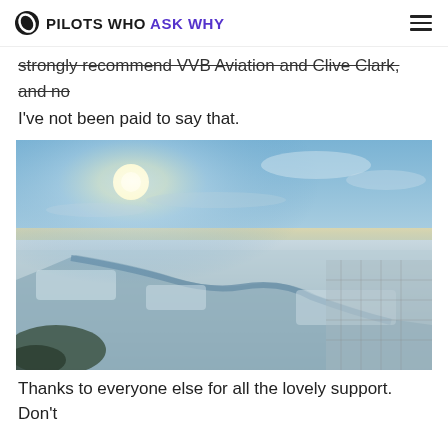PILOTS WHO ASK WHY
strongly recommend VVB Aviation and Clive Clark, and no I've not been paid to say that.
[Figure (photo): Aerial photograph taken from a plane showing a winter landscape below. The sun is bright and high in the upper left portion of the sky, with blue sky and wispy clouds. Below is a snow-covered landscape with a winding river or waterway visible, suburban areas, roads and fields stretching to the horizon.]
Thanks to everyone else for all the lovely support. Don't